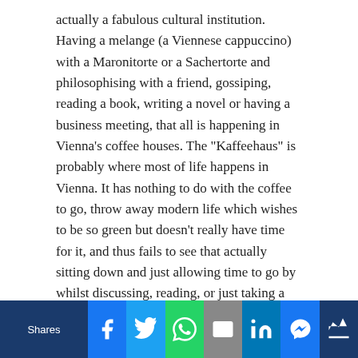actually a fabulous cultural institution. Having a melange (a Viennese cappuccino) with a Maronitorte or a Sachertorte and philosophising with a friend, gossiping, reading a book, writing a novel or having a business meeting, that all is happening in Vienna's coffee houses. The "Kaffeehaus" is probably where most of life happens in Vienna. It has nothing to do with the coffee to go, throw away modern life which wishes to be so green but doesn't really have time for it, and thus fails to see that actually sitting down and just allowing time to go by whilst discussing, reading, or just taking a moment for oneself is probably the healthiest meditation in today's hectic city life.
The history of the "Kaffeehaus" is closely connected to the end of the Viennese Siege in 1683. Legends have it
[Figure (infographic): Social sharing bar with Shares label and buttons for Facebook, Twitter, WhatsApp, Email, LinkedIn, Messenger, and a crown icon]